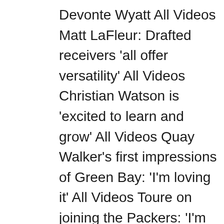Devonte Wyatt All Videos Matt LaFleur: Drafted receivers 'all offer versatility' All Videos Christian Watson is 'excited to learn and grow' All Videos Quay Walker's first impressions of Green Bay: 'I'm loving it' All Videos Toure on joining the Packers: 'I'm excited to compete' All Videos Jonathan Ford: 'I'm focused on giving everything I have' All Videos Kinglsey Enagbare feels like he's living a dream All Videos Tariq Carpenter ready to 'lock in and learn'  All Videos Romeo Doubs: 'Detail is really important' All Videos Zach Tom on being drafted by the Packers: 'Happy to get back to playing